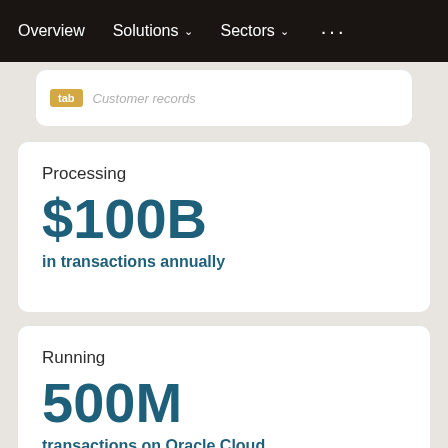Overview  Solutions  Sectors  ...
Processing
$100B
in transactions annually
Running
500M
transactions on Oracle Cloud